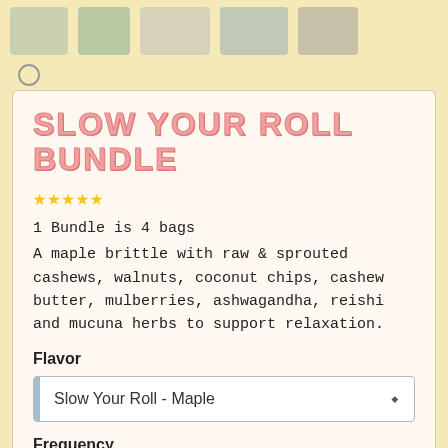[Figure (screenshot): Top strip showing product thumbnail images in a horizontal row on a yellow background]
SLOW YOUR ROLL BUNDLE
★★★★★
1 Bundle is 4 bags
A maple brittle with raw & sprouted cashews, walnuts, coconut chips, cashew butter, mulberries, ashwagandha, reishi and mucuna herbs to support relaxation.
Flavor
Slow Your Roll - Maple
Frequency
One time purchase